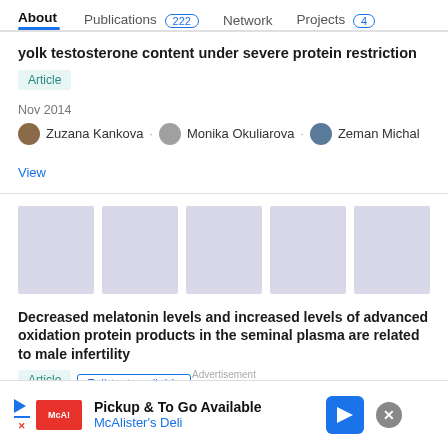About | Publications 222 | Network | Projects 4
yolk testosterone content under severe protein restriction
Article
Nov 2014
Zuzana Kankova · Monika Okuliarova · Zeman Michal
View
[Figure (other): Five grey placeholder image thumbnails in a row]
Decreased melatonin levels and increased levels of advanced oxidation protein products in the seminal plasma are related to male infertility
Article   Full-text available
Advertisement
Pickup & To Go Available
McAlister's Deli